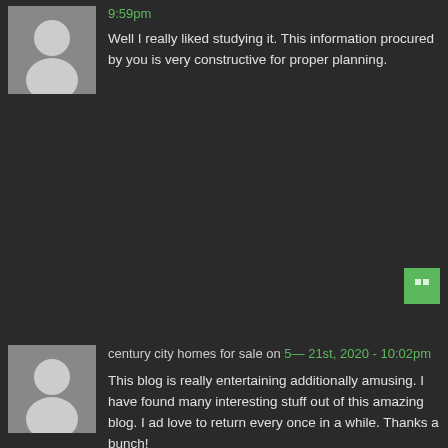9:59pm
Well I really liked studying it. This information procured by you is very constructive for proper planning.
century city homes for sale on 5— 21st, 2020 - 10:02pm
This blog is really entertaining additionally amusing. I have found many interesting stuff out of this amazing blog. I ad love to return every once in a while. Thanks a bunch!